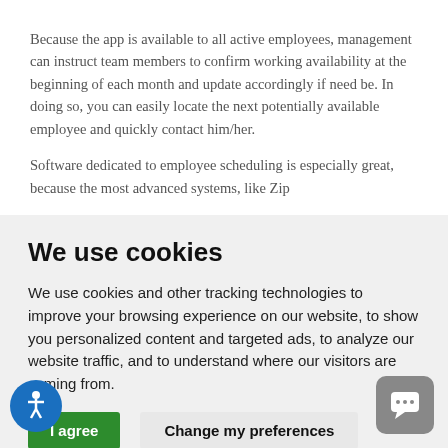Because the app is available to all active employees, management can instruct team members to confirm working availability at the beginning of each month and update accordingly if need be. In doing so, you can easily locate the next potentially available employee and quickly contact him/her.
Software dedicated to employee scheduling is especially great, because the most advanced systems, like Zip
We use cookies
We use cookies and other tracking technologies to improve your browsing experience on our website, to show you personalized content and targeted ads, to analyze our website traffic, and to understand where our visitors are coming from.
I agree
Change my preferences